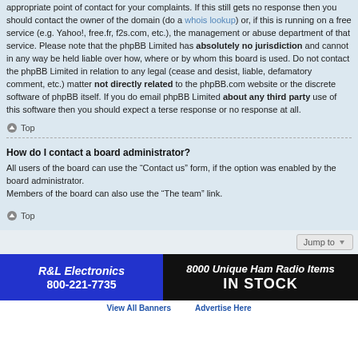appropriate point of contact for your complaints. If this still gets no response then you should contact the owner of the domain (do a whois lookup) or, if this is running on a free service (e.g. Yahoo!, free.fr, f2s.com, etc.), the management or abuse department of that service. Please note that the phpBB Limited has absolutely no jurisdiction and cannot in any way be held liable over how, where or by whom this board is used. Do not contact the phpBB Limited in relation to any legal (cease and desist, liable, defamatory comment, etc.) matter not directly related to the phpBB.com website or the discrete software of phpBB itself. If you do email phpBB Limited about any third party use of this software then you should expect a terse response or no response at all.
Top
How do I contact a board administrator?
All users of the board can use the “Contact us” form, if the option was enabled by the board administrator.
Members of the board can also use the “The team” link.
Top
[Figure (other): Jump to dropdown button]
[Figure (other): R&L Electronics advertisement banner: blue left section with company name R&L Electronics and phone 800-221-7735, black right section with text '8000 Unique Ham Radio Items IN STOCK']
View All Banners    Advertise Here